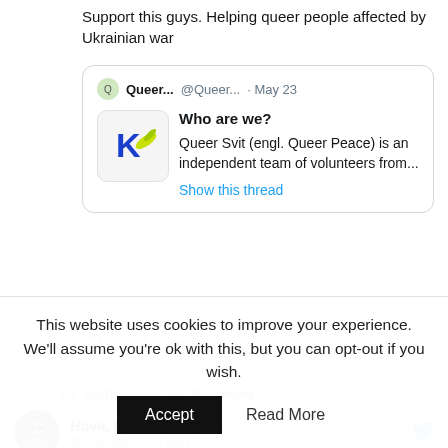Support this guys. Helping queer people affected by Ukrainian war
[Figure (screenshot): Quoted tweet from Queer... @Queer... · May 23 with logo image. Text: Who are we? Queer Svit (engl. Queer Peace) is an independent team of volunteers from... Show this thread]
♡ 2
EastLondonLines Retweeted
Hova, Beyzus, watch... @ennievicious · May 2
This website uses cookies to improve your experience. We'll assume you're ok with this, but you can opt-out if you wish.
Accept | Read More